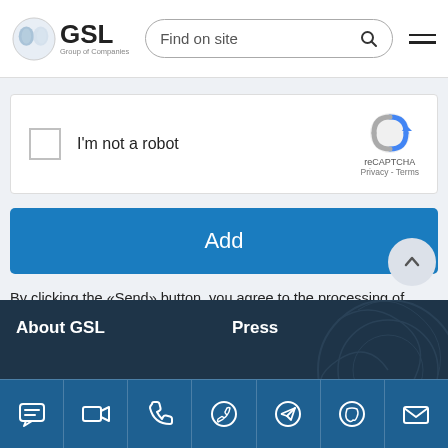[Figure (logo): GSL Group of Companies logo with circular emblem]
[Figure (screenshot): Search bar with 'Find on site' placeholder and magnifying glass icon]
[Figure (screenshot): reCAPTCHA widget with checkbox 'I'm not a robot']
[Figure (screenshot): Blue 'Add' button]
By clicking the «Send» button, you agree to the processing of personal data in accordance with the terms of our privacy policy
About GSL
Press
[Figure (screenshot): Icon bar with chat, video, phone, WhatsApp, Telegram, Viber, and email icons]